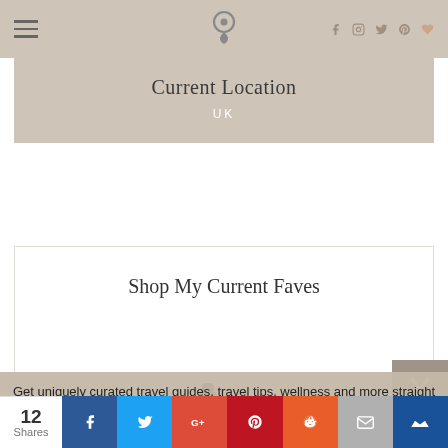Navigation header with hamburger menu, location pin icon, and social icons (Facebook, Instagram, Twitter, Pinterest, Heart)
Current Location
UK
Shop My Current Faves
[Figure (photo): Partial product images (cosmetics/beauty items) visible at bottom of shop faves box]
Get uniquely curated travel guides, travel tips, wellness and more straight to your inbox - don't miss out!
YOUR EMAIL ADDRESS
12 Shares | Facebook | Twitter | Google+ | Pinterest | Reddit | Email | Bookmark share buttons